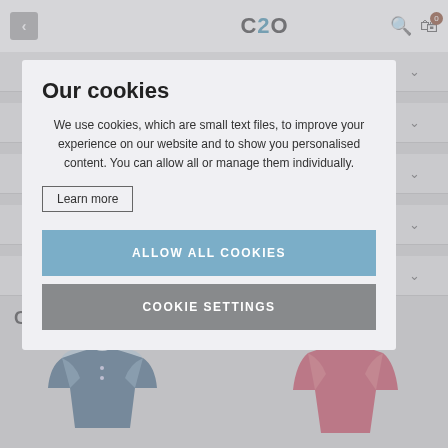C2O
DESCRIPTION
SIZE INFORMATION
DELIVERY INFORMATION
WASH CARE
REVIEWS
Customers also viewed:
Our cookies
We use cookies, which are small text files, to improve your experience on our website and to show you personalised content. You can allow all or manage them individually.
Learn more
ALLOW ALL COOKIES
COOKIE SETTINGS